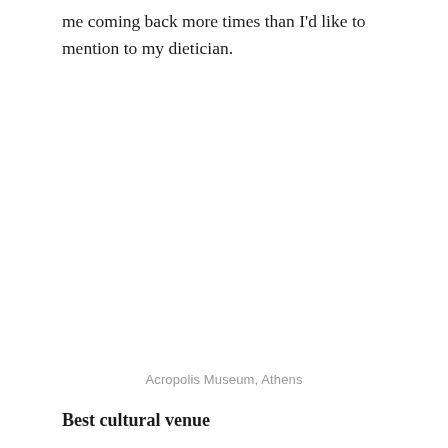me coming back more times than I'd like to mention to my dietician.
Acropolis Museum, Athens
Best cultural venue